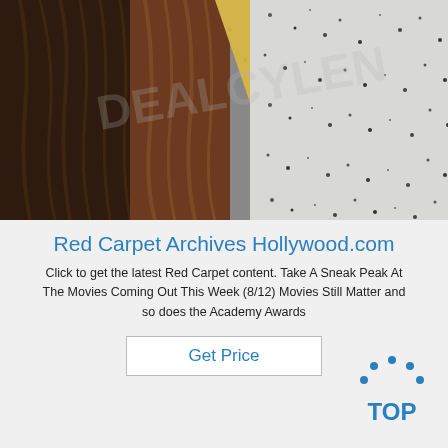[Figure (photo): Close-up photo of various flooring material samples: dark wood grain panels on the left, speckled granite/stone tile in the center-right with a gold/yellow diagonal stripe, and a light grey tile. A watermark reading 'DEALCYLEN' or similar is visible.]
Red Carpet Archives Hollywood.com
Click to get the latest Red Carpet content. Take A Sneak Peak At The Movies Coming Out This Week (8/12) Movies Still Matter and so does the Academy Awards
[Figure (logo): TOP badge logo with blue dots arranged in an arc above the word TOP in blue letters]